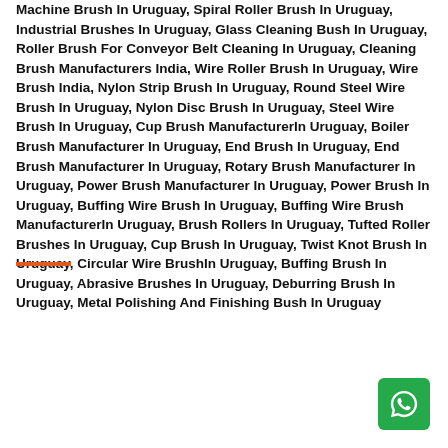Machine Brush In Uruguay, Spiral Roller Brush In Uruguay, Industrial Brushes In Uruguay, Glass Cleaning Bush In Uruguay, Roller Brush For Conveyor Belt Cleaning In Uruguay, Cleaning Brush Manufacturers India, Wire Roller Brush In Uruguay, Wire Brush India, Nylon Strip Brush In Uruguay, Round Steel Wire Brush In Uruguay, Nylon Disc Brush In Uruguay, Steel Wire Brush In Uruguay, Cup Brush ManufacturerIn Uruguay, Boiler Brush Manufacturer In Uruguay, End Brush In Uruguay, End Brush Manufacturer In Uruguay, Rotary Brush Manufacturer In Uruguay, Power Brush Manufacturer In Uruguay, Power Brush In Uruguay, Buffing Wire Brush In Uruguay, Buffing Wire Brush ManufacturerIn Uruguay, Brush Rollers In Uruguay, Tufted Roller Brushes In Uruguay, Cup Brush In Uruguay, Twist Knot Brush In Uruguay, Circular Wire BrushIn Uruguay, Buffing Brush In Uruguay, Abrasive Brushes In Uruguay, Deburring Brush In Uruguay, Metal Polishing And Finishing Bush In Uruguay
[Figure (other): WhatsApp contact button (green rounded square with WhatsApp phone icon)]